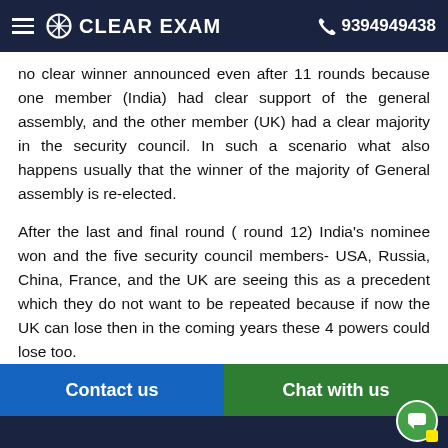CLEAR EXAM | 9394949438
no clear winner announced even after 11 rounds because one member (India) had clear support of the general assembly, and the other member (UK) had a clear majority in the security council. In such a scenario what also happens usually that the winner of the majority of General assembly is re-elected.
After the last and final round ( round 12) India's nominee won and the five security council members- USA, Russia, China, France, and the UK are seeing this as a precedent which they do not want to be repeated because if now the UK can lose then in the coming years these 4 powers could lose too.
This Indian victory happened when the UK withdrew its nomination and thus lead to Dalveer Bhandari being re-elected as a judge to
Contact us | Chat with us